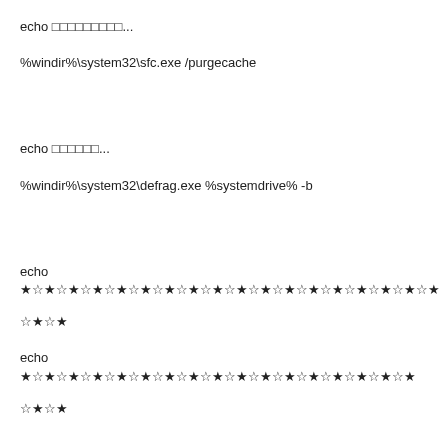echo 日本語テキスト...
%windir%\system32\sfc.exe /purgecache
echo 日本語...
%windir%\system32\defrag.exe %systemdrive% -b
echo ★☆★☆★☆★☆★☆★☆★☆★☆★☆★☆★☆★☆★☆★☆★☆★☆★☆★
☆★☆★
echo ★☆★☆★☆★☆★☆★☆★☆★☆★☆★☆★☆★☆★☆★☆★☆★☆★
☆★☆★